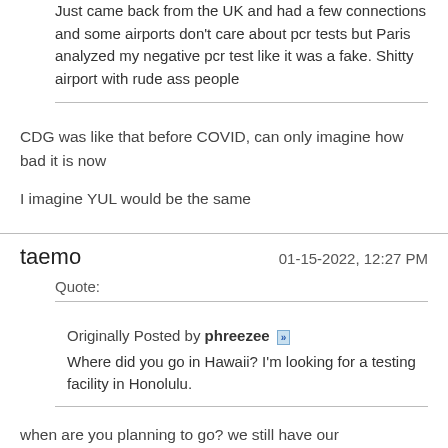Just came back from the UK and had a few connections and some airports don't care about pcr tests but Paris analyzed my negative pcr test like it was a fake. Shitty airport with rude ass people
CDG was like that before COVID, can only imagine how bad it is now
I imagine YUL would be the same
taemo    01-15-2022, 12:27 PM
Quote:
Originally Posted by phreezee
Where did you go in Hawaii? I'm looking for a testing facility in Honolulu.
when are you planning to go? we still have our